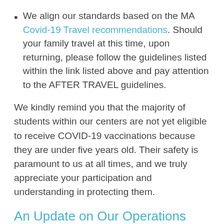We align our standards based on the MA Covid-19 Travel recommendations. Should your family travel at this time, upon returning, please follow the guidelines listed within the link listed above and pay attention to the AFTER TRAVEL guidelines.
We kindly remind you that the majority of students within our centers are not yet eligible to receive COVID-19 vaccinations because they are under five years old. Their safety is paramount to us at all times, and we truly appreciate your participation and understanding in protecting them.
An Update on Our Operations Due